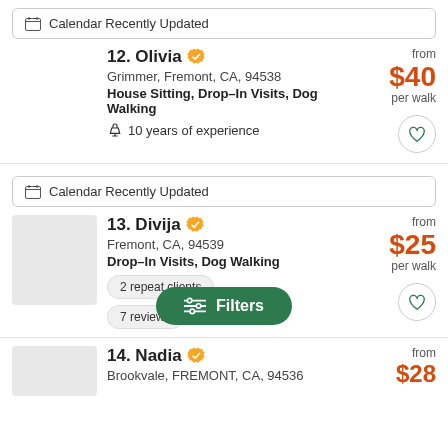Calendar Recently Updated
12. Olivia
Grimmer, Fremont, CA, 94538
House Sitting, Drop-In Visits, Dog Walking
10 years of experience
from $40 per walk
Calendar Recently Updated
13. Divija
Fremont, CA, 94539
Drop-In Visits, Dog Walking
2 repeat clients
7 reviews
from $25 per walk
14. Nadia
Brookvale, FREMONT, CA, 94536
from $28